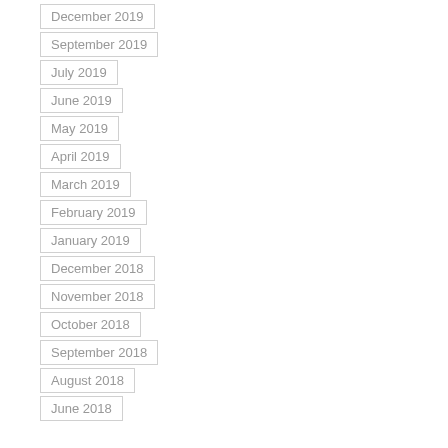December 2019
September 2019
July 2019
June 2019
May 2019
April 2019
March 2019
February 2019
January 2019
December 2018
November 2018
October 2018
September 2018
August 2018
June 2018